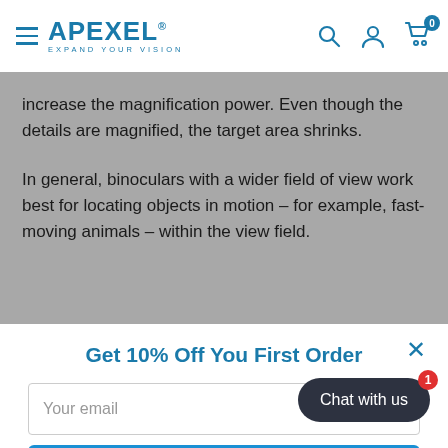APEXEL® EXPAND YOUR VISION
increase the magnification power. Even though the details are magnified, the target area shrinks.
In general, binoculars with a wider field of view work best for locating objects in motion – for example, fast-moving animals – within the view field.
Get 10% Off You First Order
Your email
Subscribe
Chat with us